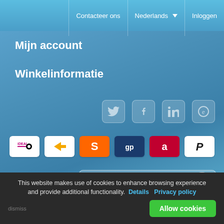Contacteer ons | Nederlands | Inloggen
Mijn account
Winkelinformatie
[Figure (logo): Social media icons: Twitter, Facebook, LinkedIn, and one more (circular icon)]
[Figure (logo): Payment method logos: iDEAL, PostNL/bank transfer, Sofort, GiroPay (gp), ABN AMRO (a), PayPal (P)]
Nieuwsbrief — Voer uw e-mail in
This website makes use of cookies to enhance browsing experience and provide additional functionality. Details Privacy policy
Allow cookies